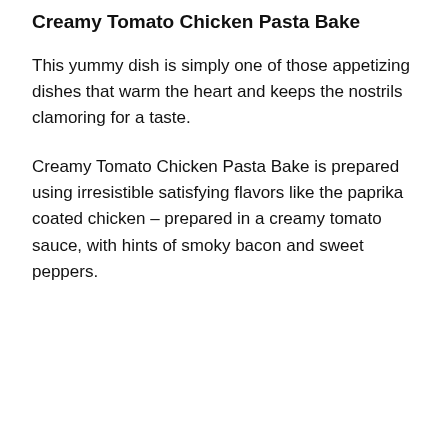Creamy Tomato Chicken Pasta Bake
This yummy dish is simply one of those appetizing dishes that warm the heart and keeps the nostrils clamoring for a taste.
Creamy Tomato Chicken Pasta Bake is prepared using irresistible satisfying flavors like the paprika coated chicken – prepared in a creamy tomato sauce, with hints of smoky bacon and sweet peppers.